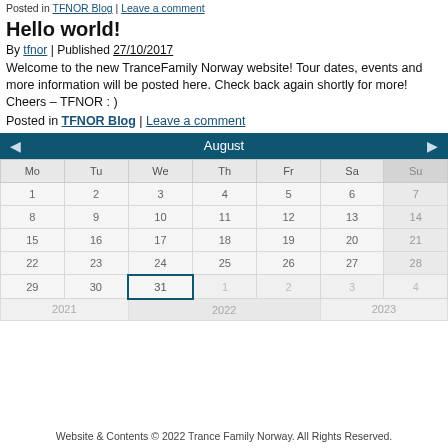Posted in TFNOR Blog | Leave a comment
Hello world!
By tfnor | Published 27/10/2017
Welcome to the new TranceFamily Norway website! Tour dates, events and more information will be posted here. Check back again shortly for more! Cheers – TFNOR : )
Posted in TFNOR Blog | Leave a comment
[Figure (other): August calendar widget with navigation arrows, days Mo-Su, dates 1-31 with 31 highlighted, and year row showing 2021, 2022, 2023]
Website & Contents © 2022 Trance Family Norway. All Rights Reserved.